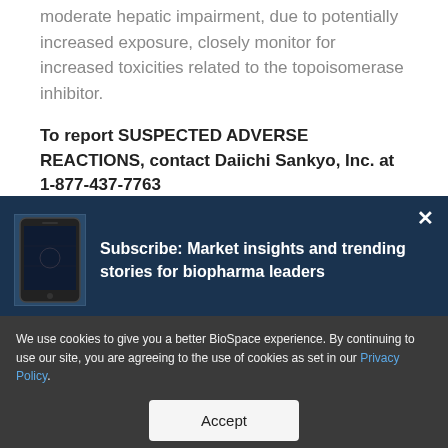moderate hepatic impairment, due to potentially increased exposure, closely monitor for increased toxicities related to the topoisomerase inhibitor.
To report SUSPECTED ADVERSE REACTIONS, contact Daiichi Sankyo, Inc. at 1-877-437-7763
[Figure (screenshot): Subscribe popup banner on a dark navy background showing a phone image on the left and text 'Subscribe: Market insights and trending stories for biopharma leaders' on the right, with a close (X) button in the top right corner.]
We use cookies to give you a better BioSpace experience. By continuing to use our site, you are agreeing to the use of cookies as set in our Privacy Policy.
Accept